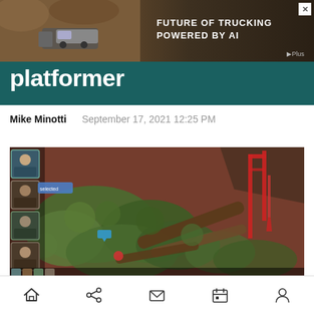[Figure (screenshot): Advertisement banner: FUTURE OF TRUCKING POWERED BY AI with truck image background and GPlus logo]
platformer
Mike Minotti    September 17, 2021 12:25 PM
[Figure (screenshot): Game screenshot showing an isometric tactical RPG scene with lush jungle vegetation, fallen logs, red structures, and character portrait icons on the left side UI panel]
Home | Share | Mail | Calendar | Profile navigation icons